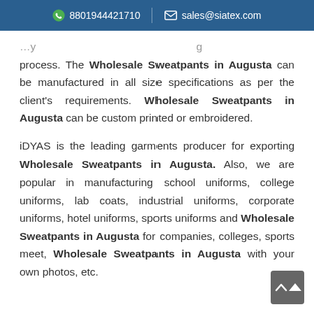8801944421710   sales@siatex.com
process. The Wholesale Sweatpants in Augusta can be manufactured in all size specifications as per the client's requirements. Wholesale Sweatpants in Augusta can be custom printed or embroidered.

iDYAS is the leading garments producer for exporting Wholesale Sweatpants in Augusta. Also, we are popular in manufacturing school uniforms, college uniforms, lab coats, industrial uniforms, corporate uniforms, hotel uniforms, sports uniforms and Wholesale Sweatpants in Augusta for companies, colleges, sports meet, Wholesale Sweatpants in Augusta with your own photos, etc.